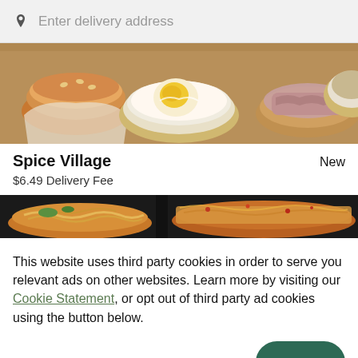Enter delivery address
[Figure (photo): Top-down photo of various food dishes including a burger bun, a bowl with egg and cream, and a bowl of meat]
Spice Village
New
$6.49 Delivery Fee
[Figure (photo): Top-down photo of noodle dishes and a spicy rice dish in bowls]
This website uses third party cookies in order to serve you relevant ads on other websites. Learn more by visiting our Cookie Statement, or opt out of third party ad cookies using the button below.
OPT OUT
GOT IT